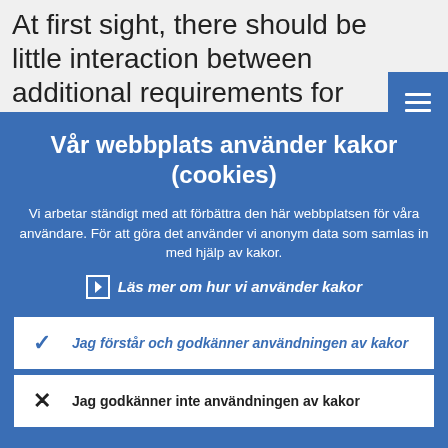At first sight, there should be little interaction between additional requirements for SIFIs and monetary poli
Vår webbplats använder kakor (cookies)
Vi arbetar ständigt med att förbättra den här webbplatsen för våra användare. För att göra det använder vi anonym data som samlas in med hjälp av kakor.
Läs mer om hur vi använder kakor
Jag förstår och godkänner användningen av kakor
Jag godkänner inte användningen av kakor